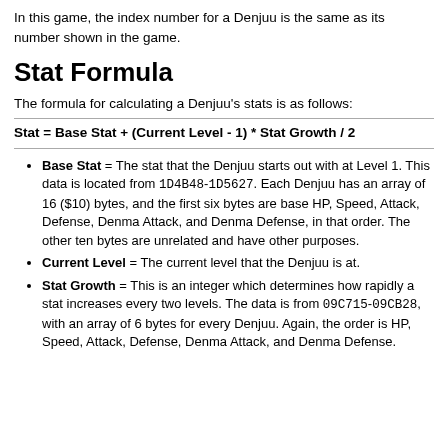In this game, the index number for a Denjuu is the same as its number shown in the game.
Stat Formula
The formula for calculating a Denjuu's stats is as follows:
Base Stat = The stat that the Denjuu starts out with at Level 1. This data is located from 1D4B48-1D5627. Each Denjuu has an array of 16 ($10) bytes, and the first six bytes are base HP, Speed, Attack, Defense, Denma Attack, and Denma Defense, in that order. The other ten bytes are unrelated and have other purposes.
Current Level = The current level that the Denjuu is at.
Stat Growth = This is an integer which determines how rapidly a stat increases every two levels. The data is from 09C715-09CB28, with an array of 6 bytes for every Denjuu. Again, the order is HP, Speed, Attack, Defense, Denma Attack, and Denma Defense.